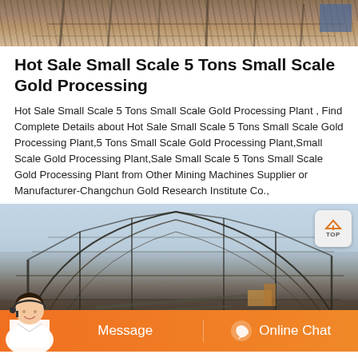[Figure (photo): Top partial photo of a mining or construction site with metal poles/scaffolding visible against an earthy background]
Hot Sale Small Scale 5 Tons Small Scale Gold Processing
Hot Sale Small Scale 5 Tons Small Scale Gold Processing Plant , Find Complete Details about Hot Sale Small Scale 5 Tons Small Scale Gold Processing Plant,5 Tons Small Scale Gold Processing Plant,Small Scale Gold Processing Plant,Sale Small Scale 5 Tons Small Scale Gold Processing Plant from Other Mining Machines Supplier or Manufacturer-Changchun Gold Research Institute Co.,
[Figure (photo): Large steel frame structure under construction at a mining site, showing roof trusses and open sides with arid landscape in background. A 'TOP' back-to-top button is overlaid in the top-right corner. An orange chat bar at the bottom shows 'Message' and 'Online Chat' buttons with a customer service person image on the left.]